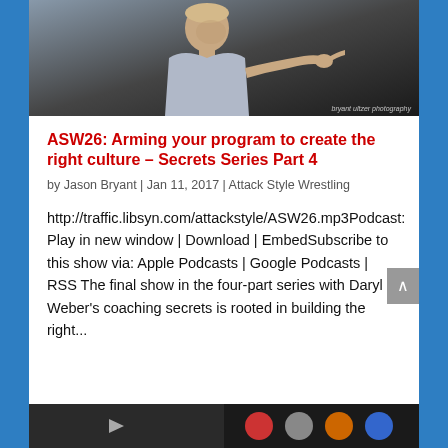[Figure (photo): Photo of a man pointing, taken at a sports/coaching event. Watermark reads 'bryant ultzer photography' in bottom right.]
ASW26: Arming your program to create the right culture – Secrets Series Part 4
by Jason Bryant | Jan 11, 2017 | Attack Style Wrestling
http://traffic.libsyn.com/attackstyle/ASW26.mp3Podcast: Play in new window | Download | EmbedSubscribe to this show via: Apple Podcasts | Google Podcasts | RSS The final show in the four-part series with Daryl Weber's coaching secrets is rooted in building the right...
[Figure (screenshot): Bottom thumbnail strip showing media player or video preview icons.]